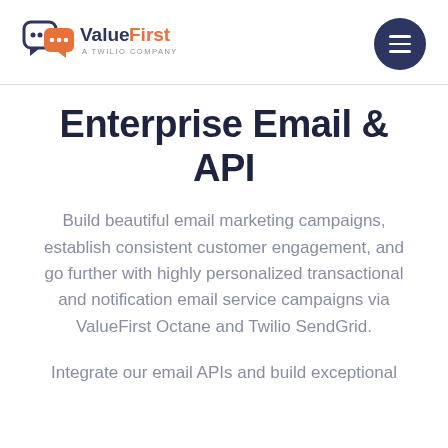ValueFirst – A Twilio Company
Enterprise Email & API
Build beautiful email marketing campaigns, establish consistent customer engagement, and go further with highly personalized transactional and notification email service campaigns via ValueFirst Octane and Twilio SendGrid.
Integrate our email APIs and build exceptional